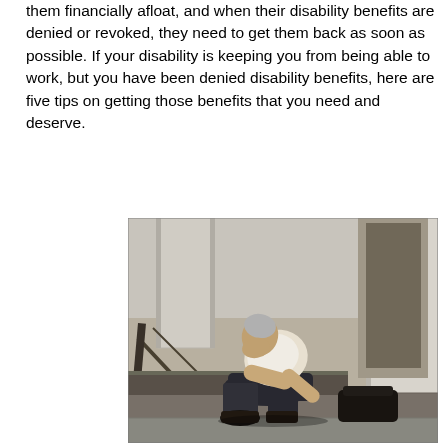them financially afloat, and when their disability benefits are denied or revoked, they need to get them back as soon as possible. If your disability is keeping you from being able to work, but you have been denied disability benefits, here are five tips on getting those benefits that you need and deserve.
[Figure (photo): Photo of an elderly man sitting hunched over on outdoor steps, head resting on his hand, appearing distressed. He is wearing a white t-shirt, dark jeans, and dark boots. There is a bag beside him. The background shows architectural columns and a building entrance.]